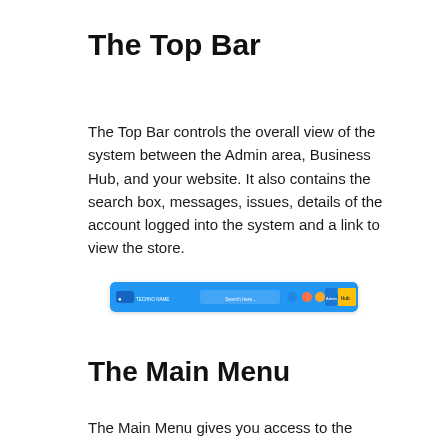The Top Bar
The Top Bar controls the overall view of the system between the Admin area, Business Hub, and your website. It also contains the search box, messages, issues, details of the account logged into the system and a link to view the store.
[Figure (screenshot): A screenshot of the Top Bar UI element showing a blue navigation bar with logo, search field, icons and buttons including Admin area, Business Hub options.]
The Main Menu
The Main Menu gives you access to the